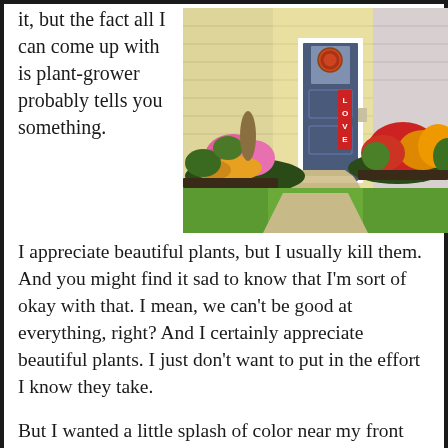it, but the fact all I can come up with is plant-grower probably tells you something.
[Figure (photo): A house front entrance with colorful flower gardens on both sides of concrete steps. Pink, yellow, and red flowers in landscaped beds flank a white door with a decorative wreath and a vertical 'LOVE' sign. Yellow siding visible.]
I appreciate beautiful plants, but I usually kill them. And you might find it sad to know that I'm sort of okay with that. I mean, we can't be good at everything, right? And I certainly appreciate beautiful plants. I just don't want to put in the effort I know they take.
But I wanted a little splash of color near my front door this year. (With help) I fostered two large planters filled with a variety of flowers all summer. They got a good start, mainly because I kept sending